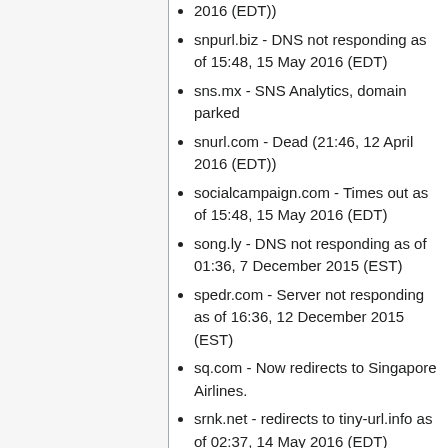snpurl.biz - DNS not responding as of 15:48, 15 May 2016 (EDT)
sns.mx - SNS Analytics, domain parked
snurl.com - Dead (21:46, 12 April 2016 (EDT))
socialcampaign.com - Times out as of 15:48, 15 May 2016 (EDT)
song.ly - DNS not responding as of 01:36, 7 December 2015 (EST)
spedr.com - Server not responding as of 16:36, 12 December 2015 (EST)
sq.com - Now redirects to Singapore Airlines.
srnk.net - redirects to tiny-url.info as of 02:37, 14 May 2016 (EDT)
srs.li - Not a shortener (21:46, 12 April 2016 (EDT))